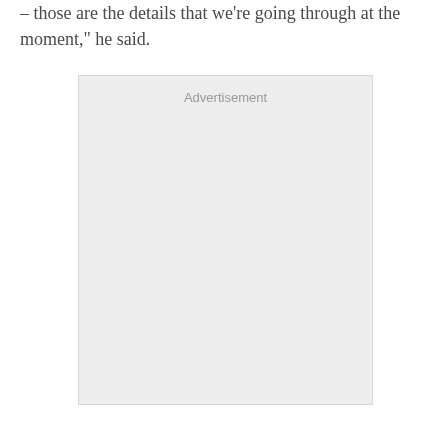– those are the details that we're going through at the moment," he said.
[Figure (other): Advertisement placeholder box with label 'Advertisement']